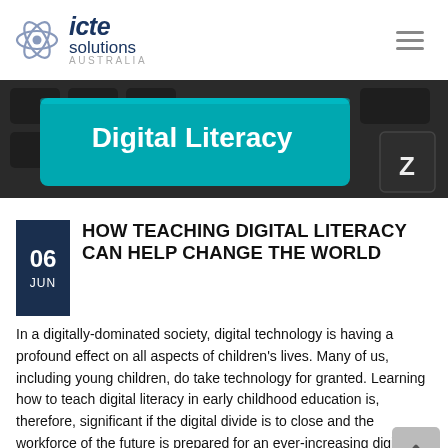[Figure (logo): ICTE Solutions Australia logo with atom graphic]
[Figure (photo): Close-up photo of a keyboard key labelled 'Digital Literacy' in teal/cyan color, with a 'Z' key visible to the right, on a dark keyboard background.]
HOW TEACHING DIGITAL LITERACY CAN HELP CHANGE THE WORLD
In a digitally-dominated society, digital technology is having a profound effect on all aspects of children's lives. Many of us, including young children, do take technology for granted. Learning how to teach digital literacy in early childhood education is, therefore, significant if the digital divide is to close and the workforce of the future is prepared for an ever-increasing digital-dominated